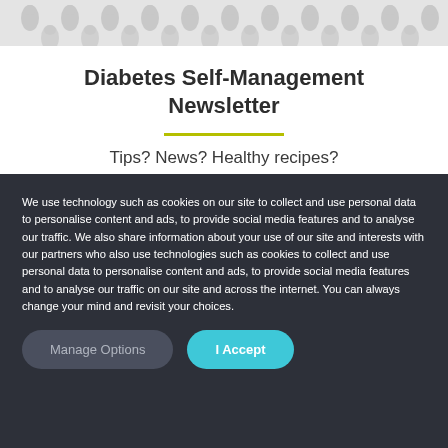[Figure (illustration): Decorative header banner with water drop icons pattern on light grey background]
Diabetes Self-Management Newsletter
Tips? News? Healthy recipes?
We use technology such as cookies on our site to collect and use personal data to personalise content and ads, to provide social media features and to analyse our traffic. We also share information about your use of our site and interests with our partners who also use technologies such as cookies to collect and use personal data to personalise content and ads, to provide social media features and to analyse our traffic on our site and across the internet. You can always change your mind and revisit your choices.
Manage Options | I Accept